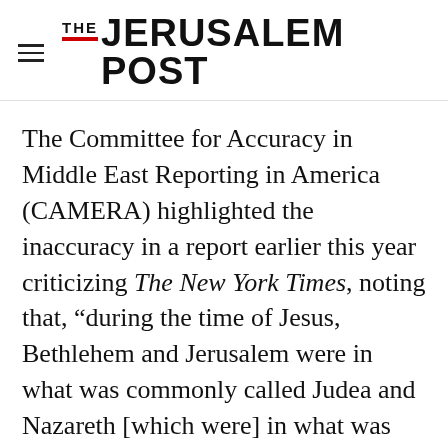THE JERUSALEM POST
The Committee for Accuracy in Middle East Reporting in America (CAMERA) highlighted the inaccuracy in a report earlier this year criticizing The New York Times, noting that, “during the time of Jesus, Bethlehem and Jerusalem were in what was commonly called Judea and Nazareth [which were] in what was commonly called the Galilee. The land where Jesus lived did not take on the name Palestine until the second century,
Advertisement